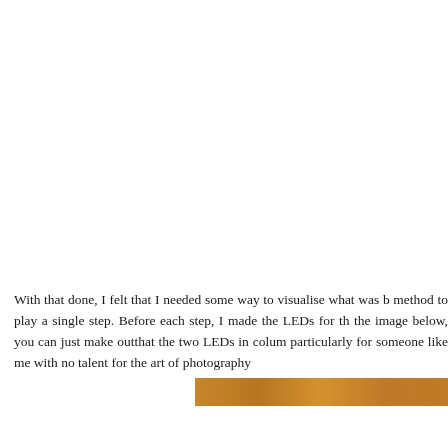With that done, I felt that I needed some way to visualise what was b method to play a single step. Before each step, I made the LEDs for th the image below, you can just make outthat the two LEDs in colum particularly for someone like me with no talent for the art of photography
[Figure (photo): A partial view of an LED matrix or strip showing two LEDs illuminated in a column, captured as a photograph. The image appears as a golden/amber horizontal band.]